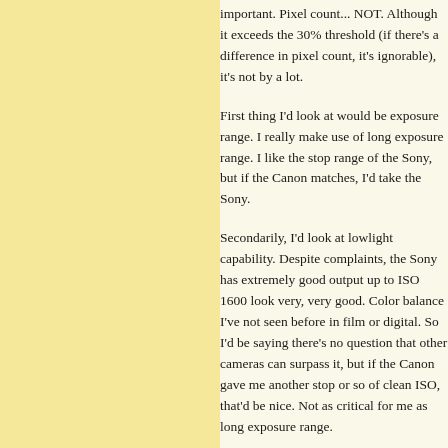important. Pixel count... NOT. Although it exceeds the 30% threshold (if there's a difference in pixel count, it's ignorable), it's not by a lot.
First thing I'd look at would be exposure range. I really make use of long exposure range. I like the stop range of the Sony, but if the Canon matches, I'd take the Sony.
Secondarily, I'd look at lowlight capability. Despite complaints, the Sony has extremely good output up to ISO 1600 look very, very good. Color balance I've not seen before in film or digital. So I'd be saying there's no question that other cameras can surpass it, but if the Canon gave me another stop or so of clean ISO, that'd be nice. Not as critical for me as long exposure range.
Absent deciding factors there, it would come down to look and feel of the photographs. I really like the Sony look, just as I like the way the Fuji p